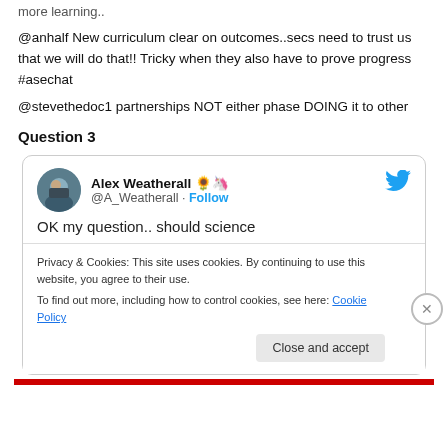more learning..
@anhalf New curriculum clear on outcomes..secs need to trust us that we will do that!! Tricky when they also have to prove progress #asechat
@stevethedoc1 partnerships NOT either phase DOING it to other
Question 3
[Figure (screenshot): Tweet card from Alex Weatherall (@A_Weatherall) with sunflower and unicorn emojis, Follow link, Twitter bird icon, partial tweet text visible: OK my question.. should science]
Privacy & Cookies: This site uses cookies. By continuing to use this website, you agree to their use.
To find out more, including how to control cookies, see here: Cookie Policy
Close and accept